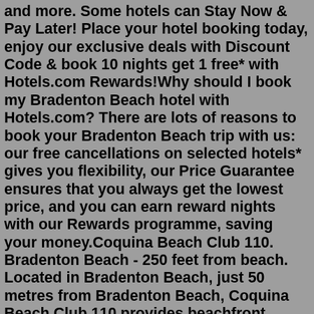and more. Some hotels can Stay Now & Pay Later! Place your hotel booking today, enjoy our exclusive deals with Discount Code & book 10 nights get 1 free* with Hotels.com Rewards!Why should I book my Bradenton Beach hotel with Hotels.com? There are lots of reasons to book your Bradenton Beach trip with us: our free cancellations on selected hotels* gives you flexibility, our Price Guarantee ensures that you always get the lowest price, and you can earn reward nights with our Rewards programme, saving your money.Coquina Beach Club 110. Bradenton Beach - 250 feet from beach. Located in Bradenton Beach, just 50 metres from Bradenton Beach, Coquina Beach Club 110 provides beachfront accommodation with an outdoor swimming pool, a garden, a private beach area and free WiFi. This property offers a private pool and free private parking. Free cancellations on selected hotels. Looking to book a cheap Luxury Hotels in Bradenton Beach? See Hotels.com 10 best Bradenton Beach Luxury Hotels. Collect 10 nights and get 1 free!Pay...